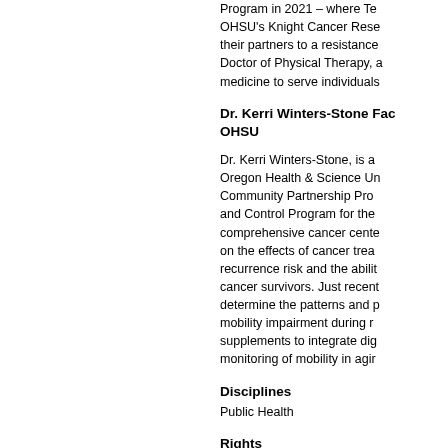Program in 2021 – where Te OHSU's Knight Cancer Rese their partners to a resistance Doctor of Physical Therapy, a medicine to serve individuals
Dr. Kerri Winters-Stone Fac OHSU
Dr. Kerri Winters-Stone, is a Oregon Health & Science Un Community Partnership Pro and Control Program for the comprehensive cancer cente on the effects of cancer trea recurrence risk and the abilit cancer survivors. Just recent determine the patterns and p mobility impairment during r supplements to integrate dig monitoring of mobility in agir
Disciplines
Public Health
Rights
© Copyright the author(s)